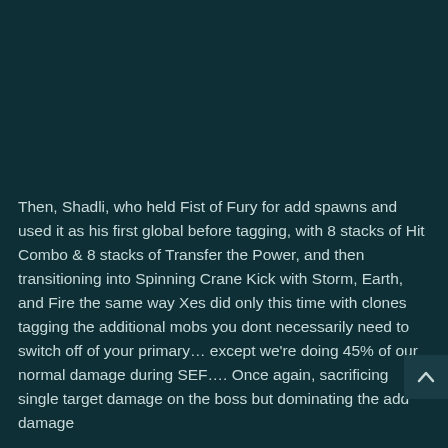Then, Shadli, who held Fist of Fury for add spawns and used it as his first global before tagging, with 8 stacks of Hit Combo & 8 stacks of Transfer the Power, and then transitioning into Spinning Crane Kick with Storm, Earth, and Fire the same way Xes did only this time with clones tagging the additional mobs you dont necessarily need to switch off of your primary… except we're doing 45% of our normal damage during SEF…. Once again, sacrificing single target damage on the boss but dominating the add damage
Very important abilities held for each talent with the intent of doing more overall damage and what was